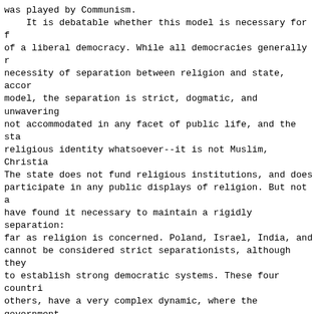was played by Communism.
    It is debatable whether this model is necessary for the functioning of a liberal democracy. While all democracies generally recognize the necessity of separation between religion and state, according to this model, the separation is strict, dogmatic, and unwavering. Religion is not accommodated in any facet of public life, and the state itself has no religious identity whatsoever--it is not Muslim, Christian, or Jewish. The state does not fund religious institutions, and does not allow leaders to participate in any public displays of religion. But not all democracies have found it necessary to maintain a rigidly separationist position as far as religion is concerned. Poland, Israel, India, and others cannot be considered strict separationists, although they have managed to establish strong democratic systems. These four countries, among others, have a very complex dynamic, where the government does not rule in God's name, but it does accommodate various aspects of religious practice and identity. In these countries, although the government guarantees the rights of all religious minorities, the government is not entirely impartial towards all religions. Even more, the nations these governments represent, might even have a certain religious identity, such as Jewish, Catholic, or Protestant.
    While the strict separationist model can guarantee absolute equality of religious freedom, its uncompromising secularism places it at odds with the religiously based sentiments of the majority of citizens. If the majority of the citizenry has a strong sense of religious identity, often the state is forced to clash with the sentiments of the majority, and as a result, the state employs heavy-handed tactics, largely at the expense of human rights. Consequently, the state becomes alienated from its citizens and the country exists in a perpetual condition of political turmoil and instability.